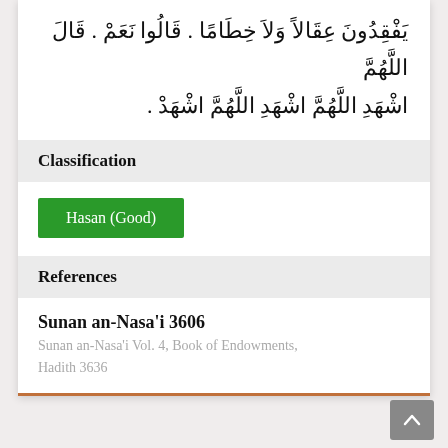يَفْقِدُونَ عِقَالاً وَلاَ خِطَامًا . قَالُوا نَعَمْ . قَالَ اللَّهُمَّ اشْهَدِ اللَّهُمَّ اشْهَدِ اللَّهُمَّ اشْهَدْ .
Classification
Hasan (Good)
References
Sunan an-Nasa'i 3606
Sunan an-Nasa'i Vol. 4, Book of Endowments, Hadith 3636